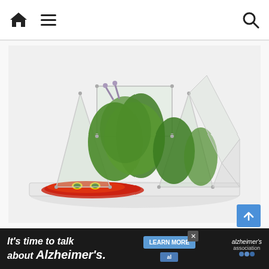Home menu search icons
[Figure (photo): Magna Tiles magnetic construction set arranged to display The Very Hungry Caterpillar book artwork, with clear magnetic tiles forming a tunnel/arch shape over the open book pages showing the caterpillar illustration]
Magna Tiles: A Very Magnetic Caterpillar
October 19, 2020  Sarah Pinault —
[Figure (infographic): Advertisement banner: It's time to talk about Alzheimer's. LEARN MORE button. alzheimer's association logo.]